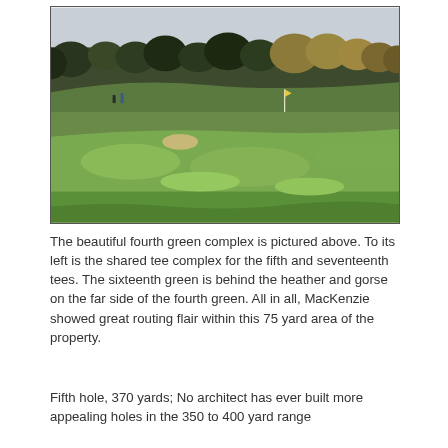[Figure (photo): A golf course fairway and green complex viewed from ground level, with lush green grass in the foreground, trees lining the background including some with autumn foliage, and an overcast sky.]
The beautiful fourth green complex is pictured above. To its left is the shared tee complex for the fifth and seventeenth tees. The sixteenth green is behind the heather and gorse on the far side of the fourth green. All in all, MacKenzie showed great routing flair within this 75 yard area of the property.
Fifth hole, 370 yards; No architect has ever built more appealing holes in the 350 to 400 yard range